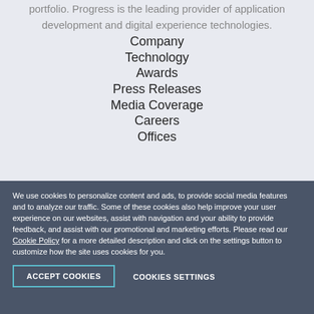portfolio. Progress is the leading provider of application development and digital experience technologies.
Company
Technology
Awards
Press Releases
Media Coverage
Careers
Offices
We use cookies to personalize content and ads, to provide social media features and to analyze our traffic. Some of these cookies also help improve your user experience on our websites, assist with navigation and your ability to provide feedback, and assist with our promotional and marketing efforts. Please read our Cookie Policy for a more detailed description and click on the settings button to customize how the site uses cookies for you.
ACCEPT COOKIES
COOKIES SETTINGS